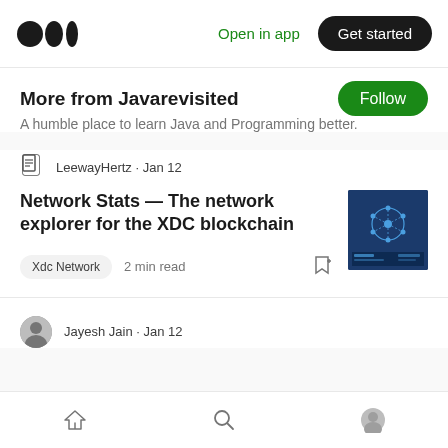Medium app navigation bar with logo, Open in app link, and Get started button
More from Javarevisited
A humble place to learn Java and Programming better.
LeewayHertz · Jan 12
Network Stats — The network explorer for the XDC blockchain
[Figure (screenshot): Article thumbnail showing XDC blockchain network stats with blue background and network diagram]
Xdc Network   2 min read
Jayesh Jain · Jan 12
Bottom navigation bar with home, search, and profile icons